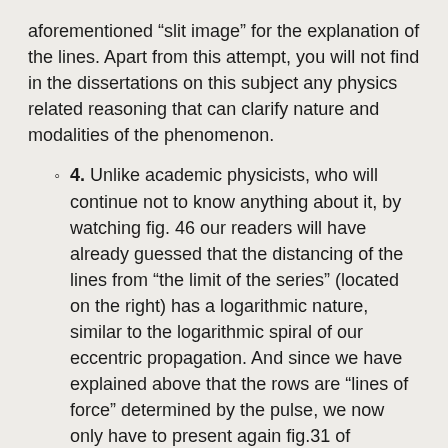aforementioned “slit image” for the explanation of the lines. Apart from this attempt, you will not find in the dissertations on this subject any physics related reasoning that can clarify nature and modalities of the phenomenon.
4. Unlike academic physicists, who will continue not to know anything about it, by watching fig. 46 our readers will have already guessed that the distancing of the lines from “the limit of the series” (located on the right) has a logarithmic nature, similar to the logarithmic spiral of our eccentric propagation. And since we have explained above that the rows are “lines of force” determined by the pulse, we now only have to present again fig.31 of chapter.3.6 in fig. 47 in a polar projection rather than equatorial; by